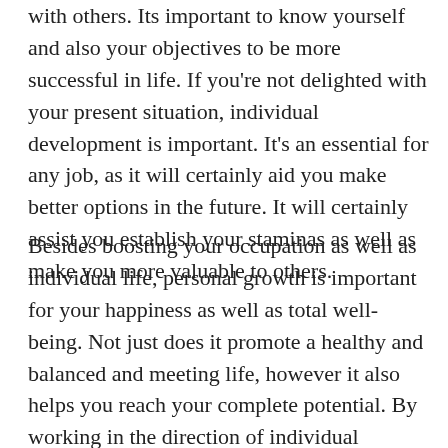with others. Its important to know yourself and also your objectives to be more successful in life. If you're not delighted with your present situation, individual development is important. It's an essential for any job, as it will certainly aid you make better options in the future. It will certainly assist you establish your staminas as well as make you more valuable to others.
Besides boosting your occupation as well as individual life, personal growth is important for your happiness as well as total well-being. Not just does it promote a healthy and balanced and meeting life, however it also helps you reach your complete potential. By working in the direction of individual advancement, you'll be extra satisfied in your task as well as even more met in your partnerships. Attaining your goals and making better choices will certainly enhance your happiness. If you are unhappy with your partnerships, you can think